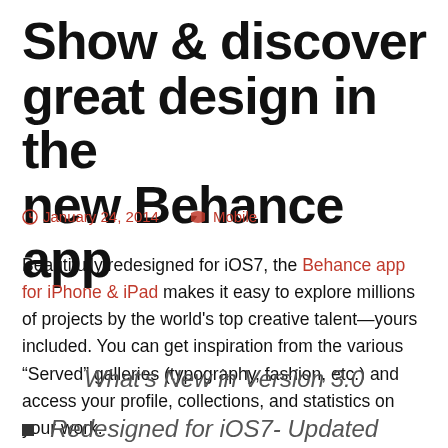Show & discover great design in the new Behance app
January 24, 2014   Mobile
Beautifully redesigned for iOS7, the Behance app for iPhone & iPad makes it easy to explore millions of projects by the world's top creative talent—yours included. You can get inspiration from the various “Served” galleries (typography, fashion, etc.) and access your profile, collections, and statistics on your work.
What’s New in Version 3.0
Redesigned for iOS7- Updated